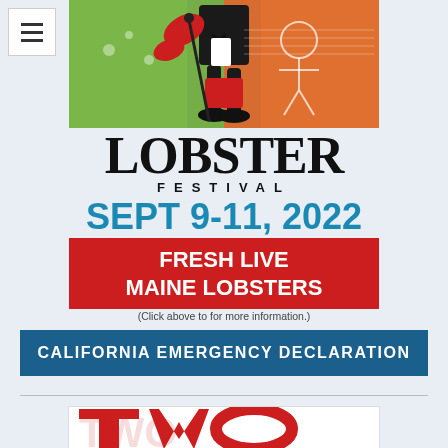[Figure (illustration): Lobster Festival logo illustration with lobster character in tuxedo against green and orange background]
LOBSTER FESTIVAL
SEPT 9-11, 2022
[Figure (illustration): Red banner reading FRESH LIVE MAINE LOBSTERS]
(Click above to for more information.)
CALIFORNIA EMERGENCY DECLARATION
[Figure (illustration): Partial text reading TWO at bottom of page]